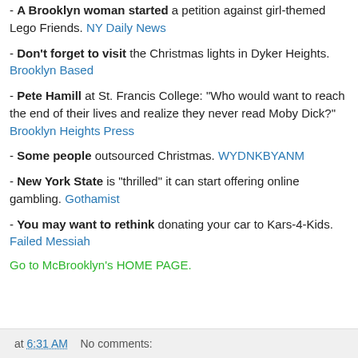- A Brooklyn woman started a petition against girl-themed Lego Friends. NY Daily News
- Don't forget to visit the Christmas lights in Dyker Heights. Brooklyn Based
- Pete Hamill at St. Francis College: "Who would want to reach the end of their lives and realize they never read Moby Dick?" Brooklyn Heights Press
- Some people outsourced Christmas. WYDNKBYANM
- New York State is "thrilled" it can start offering online gambling. Gothamist
- You may want to rethink donating your car to Kars-4-Kids. Failed Messiah
Go to McBrooklyn's HOME PAGE.
at 6:31 AM   No comments: